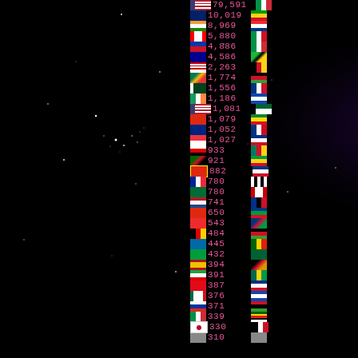[Figure (infographic): Dark space/galaxy background on left side with stars. Right side shows a leaderboard with country flags and numbers. Left column has flags with counts: 79,591 | 10,019 | 8,969 | 5,880 | 4,886 | 4,586 | 2,263 | 1,774 | 1,556 | 1,186 | 1,081 | 1,079 | 1,052 | 1,027 | 933 | 921 | 882 | 780 | 780 | 741 | 650 | 543 | 484 | 445 | 432 | 394 | 391 | 387 | 376 | 371 | 339 | 330 | 310. Right column has additional flags.]